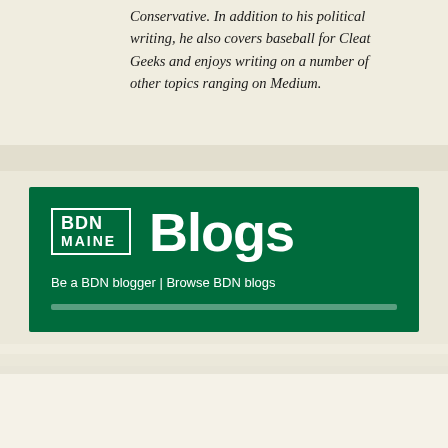Conservative. In addition to his political writing, he also covers baseball for Cleat Geeks and enjoys writing on a number of other topics ranging on Medium.
[Figure (other): BDN Maine Blogs banner with logo, large 'Blogs' heading, and links 'Be a BDN blogger | Browse BDN blogs' on a dark green background.]